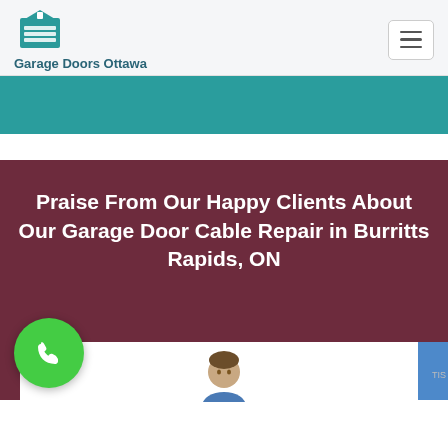Garage Doors Ottawa
[Figure (other): Teal decorative banner strip]
Praise From Our Happy Clients About Our Garage Door Cable Repair in Burritts Rapids, ON
[Figure (other): Green phone call button icon and partial white card with person avatar at the bottom]